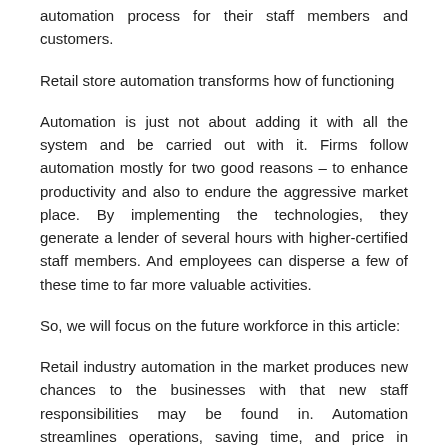automation process for their staff members and customers.
Retail store automation transforms how of functioning
Automation is just not about adding it with all the system and be carried out with it. Firms follow automation mostly for two good reasons – to enhance productivity and also to endure the aggressive market place. By implementing the technologies, they generate a lender of several hours with higher-certified staff members. And employees can disperse a few of these time to far more valuable activities.
So, we will focus on the future workforce in this article:
Retail industry automation in the market produces new chances to the businesses with that new staff responsibilities may be found in. Automation streamlines operations, saving time, and price in various approaches. First and foremost, individual's activities that when needed every day focus, like job buy managing, from retail industry amenities managers' plates. By automating the process, the day-to-day jobs are turned into a reliable work-flow to ensure